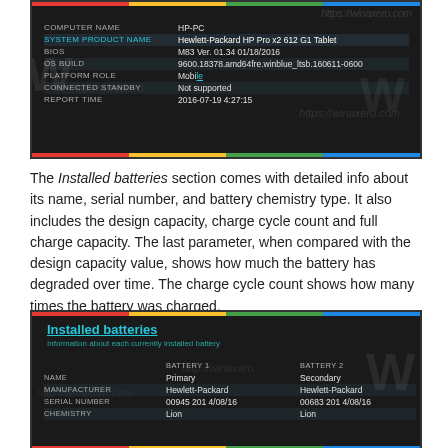[Figure (screenshot): Dark-themed system info screenshot showing: COMPUTER NAME: HP-PC, SYSTEM PRODUCT NAME: Hewlett-Packard HP Pro x2 612 G1 Tablet, BIOS: M83 Ver. 01.34 01/18/2016, OS BUILD: 9600.18378.amd64fre.winblue_ltsb.160611-0600, PLATFORM ROLE: Mobile, CONNECTED STANDBY: Not supported, REPORT TIME: 2016-07-19 4:27:15]
The Installed batteries section comes with detailed info about its name, serial number, and battery chemistry type. It also includes the design capacity, charge cycle count and full charge capacity. The last parameter, when compared with the design capacity value, shows how much the battery has degraded over time. The charge cycle count shows how many times the battery was charged.
[Figure (screenshot): Dark-themed Installed batteries section showing: Section title 'Installed batteries' in cyan, subtitle 'Information about each currently installed battery'. Table with BATTERY 1 and BATTERY 2 columns. NAME: Primary / Secondary, MANUFACTURER: Hewlett-Packard / Hewlett-Packard, SERIAL NUMBER: 00945 2014/08/16 / 00683 2014/08/16, CHEMISTRY: Lion / Lion]